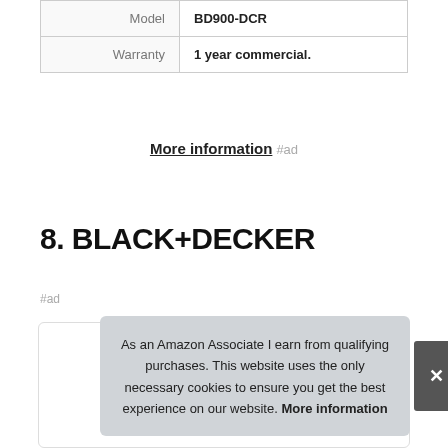| Model | BD900-DCR |
| Warranty | 1 year commercial. |
More information #ad
8. BLACK+DECKER
#ad
As an Amazon Associate I earn from qualifying purchases. This website uses the only necessary cookies to ensure you get the best experience on our website. More information